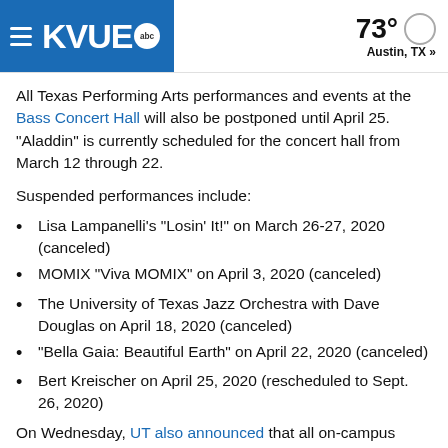KVUE abc | 73° Austin, TX »
All Texas Performing Arts performances and events at the Bass Concert Hall will also be postponed until April 25. "Aladdin" is currently scheduled for the concert hall from March 12 through 22.
Suspended performances include:
Lisa Lampanelli's "Losin' It!" on March 26-27, 2020 (canceled)
MOMIX "Viva MOMIX" on April 3, 2020 (canceled)
The University of Texas Jazz Orchestra with Dave Douglas on April 18, 2020 (canceled)
"Bella Gaia: Beautiful Earth" on April 22, 2020 (canceled)
Bert Kreischer on April 25, 2020 (rescheduled to Sept. 26, 2020)
On Wednesday, UT also announced that all on-campus